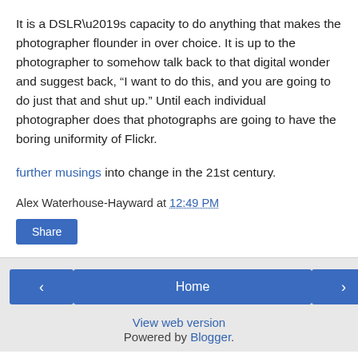It is a DSLR’s capacity to do anything that makes the photographer flounder in over choice. It is up to the photographer to somehow talk back to that digital wonder and suggest back, “I want to do this, and you are going to do just that and shut up.” Until each individual photographer does that photographs are going to have the boring uniformity of Flickr.
further musings into change in the 21st century.
Alex Waterhouse-Hayward at 12:49 PM
Share
‹
Home
›
View web version
Powered by Blogger.